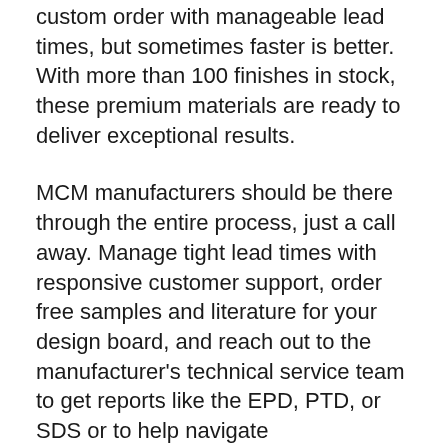custom order with manageable lead times, but sometimes faster is better. With more than 100 finishes in stock, these premium materials are ready to deliver exceptional results.
MCM manufacturers should be there through the entire process, just a call away. Manage tight lead times with responsive customer support, order free samples and literature for your design board, and reach out to the manufacturer's technical service team to get reports like the EPD, PTD, or SDS or to help navigate specifications. From the regional sales manager to the quality